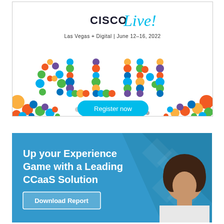[Figure (infographic): Cisco Live! Las Vegas + Digital | June 12-16, 2022. ALL IN event advertisement with colorful circles/dots forming the text 'ALL IN'. Register now button in teal.]
[Figure (infographic): Up your Experience Game with a Leading CCaaS Solution. Download Report button. Blue background with diagonal stripe design and woman with curly hair photo.]